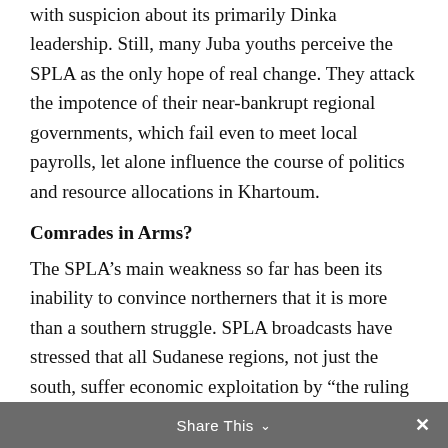with suspicion about its primarily Dinka leadership. Still, many Juba youths perceive the SPLA as the only hope of real change. They attack the impotence of their near-bankrupt regional governments, which fail even to meet local payrolls, let alone influence the course of politics and resource allocations in Khartoum.
Comrades in Arms?
The SPLA’s main weakness so far has been its inability to convince northerners that it is more than a southern struggle. SPLA broadcasts have stressed that all Sudanese regions, not just the south, suffer economic exploitation by “the ruling clique in Khartoum.” But this message, even if popular, does not appear to have galvanized actual fighting support in the
Share This